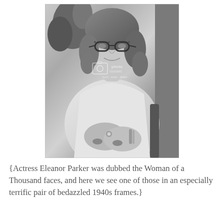[Figure (photo): Black and white photograph of actress Eleanor Parker wearing decorative 1940s cat-eye bedazzled glasses, seated, wearing a light-colored outfit, with hands folded showing rings and bracelets. A Photobucket watermark is visible in the center of the image.]
{Actress Eleanor Parker was dubbed the Woman of a Thousand faces, and here we see one of those in an especially terrific pair of bedazzled 1940s frames.}